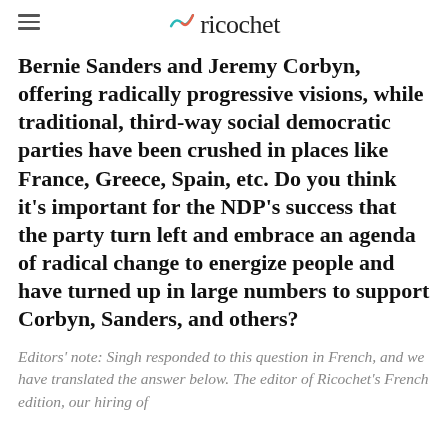ricochet
Bernie Sanders and Jeremy Corbyn, offering radically progressive visions, while traditional, third-way social democratic parties have been crushed in places like France, Greece, Spain, etc. Do you think it’s important for the NDP’s success that the party turn left and embrace an agenda of radical change to energize people and have turned up in large numbers to support Corbyn, Sanders, and others?
Editors’ note: Singh responded to this question in French, and we have translated the answer below. The editor of Ricochet’s French edition, our hiring of...